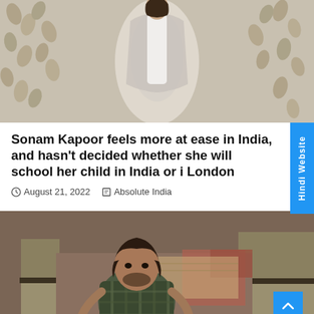[Figure (photo): A woman in white outfit with embroidered jacket standing in front of floral curtains]
Sonam Kapoor feels more at ease in India, and hasn't decided whether she will school her child in India or in London
August 21, 2022  Absolute India
[Figure (photo): A man in a plaid shirt sitting on the ground surrounded by people in khaki police uniforms, appearing to be a scene from a film]